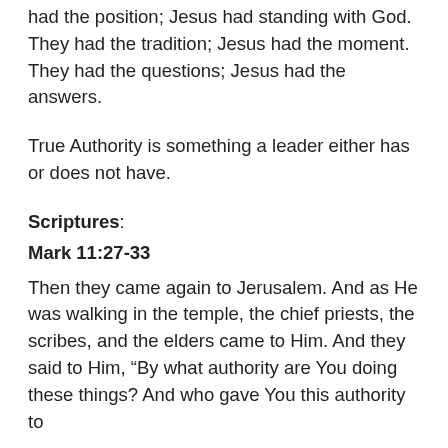had the position; Jesus had standing with God. They had the tradition; Jesus had the moment. They had the questions; Jesus had the answers.
True Authority is something a leader either has or does not have.
Scriptures:
Mark 11:27-33
Then they came again to Jerusalem. And as He was walking in the temple, the chief priests, the scribes, and the elders came to Him. And they said to Him, “By what authority are You doing these things? And who gave You this authority to